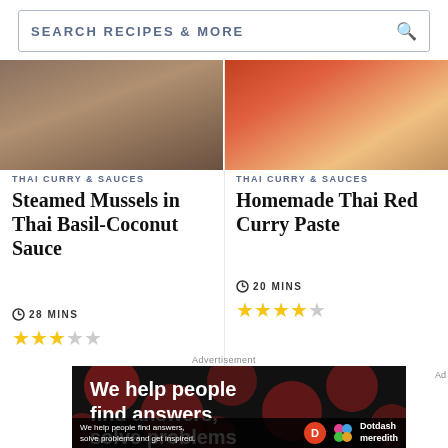SEARCH RECIPES & MORE
THAI CURRY & SAUCES
Steamed Mussels in Thai Basil-Coconut Sauce
28 MINS
3 out of 5 stars
THAI CURRY & SAUCES
Homemade Thai Red Curry Paste
20 MINS
4 out of 5 stars
Advertisement
[Figure (screenshot): Advertisement banner with dark background showing red circles pattern and white bold text: 'We help people find answers, solve problems and get inspired' with Dotdash Meredith branding at bottom]